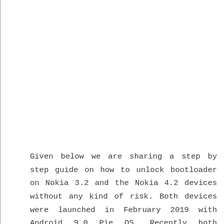Given below we are sharing a step by step guide on how to unlock bootloader on Nokia 3.2 and the Nokia 4.2 devices without any kind of risk. Both devices were launched in February 2019 with Android 9.0 Pie OS. Recently both devices received the stable Android 10